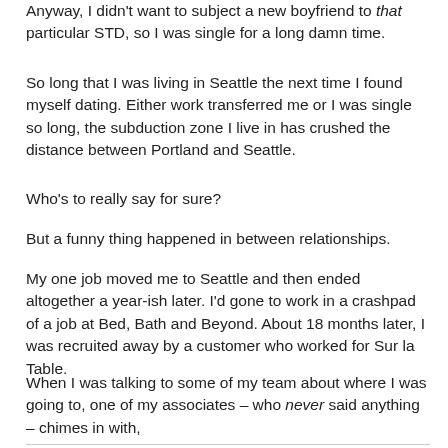Anyway, I didn't want to subject a new boyfriend to that particular STD, so I was single for a long damn time.
So long that I was living in Seattle the next time I found myself dating. Either work transferred me or I was single so long, the subduction zone I live in has crushed the distance between Portland and Seattle.
Who's to really say for sure?
But a funny thing happened in between relationships.
My one job moved me to Seattle and then ended altogether a year-ish later. I'd gone to work in a crashpad of a job at Bed, Bath and Beyond. About 18 months later, I was recruited away by a customer who worked for Sur la Table.
When I was talking to some of my team about where I was going to, one of my associates – who never said anything – chimes in with,